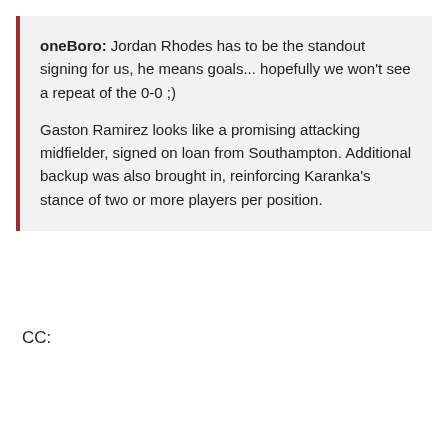oneBoro: Jordan Rhodes has to be the standout signing for us, he means goals... hopefully we won't see a repeat of the 0-0 ;)

Gaston Ramirez looks like a promising attacking midfielder, signed on loan from Southampton. Additional backup was also brought in, reinforcing Karanka's stance of two or more players per position.
CC: